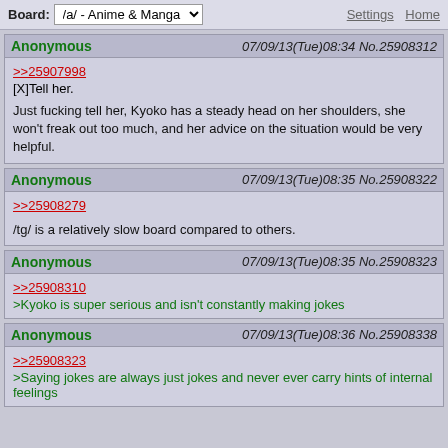Board: /a/ - Anime & Manga | Settings | Home
Anonymous 07/09/13(Tue)08:34 No.25908312
>>25907998
[X]Tell her.
Just fucking tell her, Kyoko has a steady head on her shoulders, she won't freak out too much, and her advice on the situation would be very helpful.
Anonymous 07/09/13(Tue)08:35 No.25908322
>>25908279
/tg/ is a relatively slow board compared to others.
Anonymous 07/09/13(Tue)08:35 No.25908323
>>25908310
>Kyoko is super serious and isn't constantly making jokes
Anonymous 07/09/13(Tue)08:36 No.25908338
>>25908323
>Saying jokes are always just jokes and never ever carry hints of internal feelings